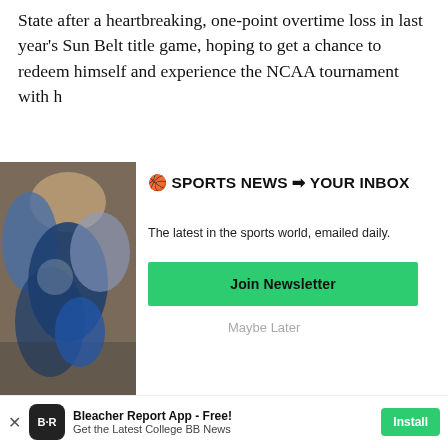State after a heartbreaking, one-point overtime loss in last year's Sun Belt title game, hoping to get a chance to redeem himself and experience the NCAA tournament with h
[Figure (photo): A blurred photo of a person in blue, likely a sports scene crowd shot]
🏀 SPORTS NEWS ➡ YOUR INBOX
The latest in the sports world, emailed daily.
Join Newsletter
Maybe Later
Bleacher Report App - Free! Get the Latest College BB News  Install